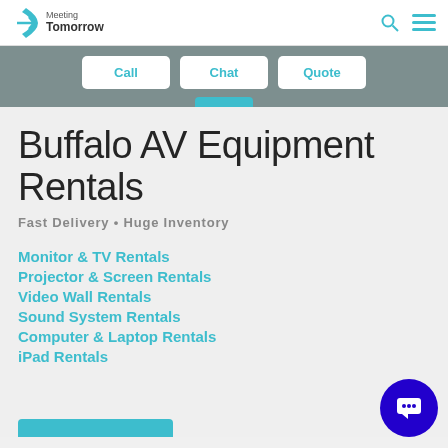Meeting Tomorrow
Call | Chat | Quote
Buffalo AV Equipment Rentals
Fast Delivery • Huge Inventory
Monitor & TV Rentals
Projector & Screen Rentals
Video Wall Rentals
Sound System Rentals
Computer & Laptop Rentals
iPad Rentals